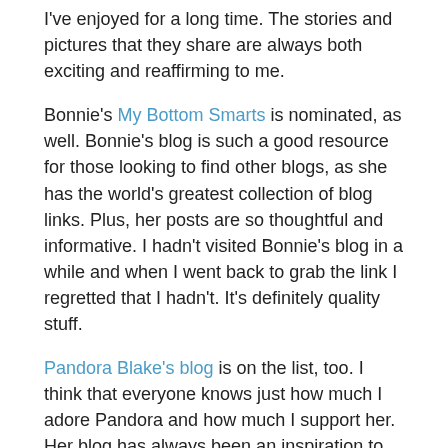I've enjoyed for a long time. The stories and pictures that they share are always both exciting and reaffirming to me.
Bonnie's My Bottom Smarts is nominated, as well. Bonnie's blog is such a good resource for those looking to find other blogs, as she has the world's greatest collection of blog links. Plus, her posts are so thoughtful and informative. I hadn't visited Bonnie's blog in a while and when I went back to grab the link I regretted that I hadn't. It's definitely quality stuff.
Pandora Blake's blog is on the list, too. I think that everyone knows just how much I adore Pandora and how much I support her. Her blog has always been an inspiration to me, and she continues to challenge my held beliefs and open my mind to this day. Pandora is really a treasure in the spanking scene. We're so lucky to have her.
Finally, there's Tim the Tum, whose blog includes really great spanking stories and some of the most thoughtful and interesting writing about spanking videos that I've seen in a while.
So, all in all, it's a great list of candidates. Checking out each of the blogs that have been listed made me feel really enthusiastic about the blogging scene again, too, which is something I'd been needing. After I left blogger, I stopped feeling a certain sense of blogging community. I want to get back to commenting on others blogs and engaging with